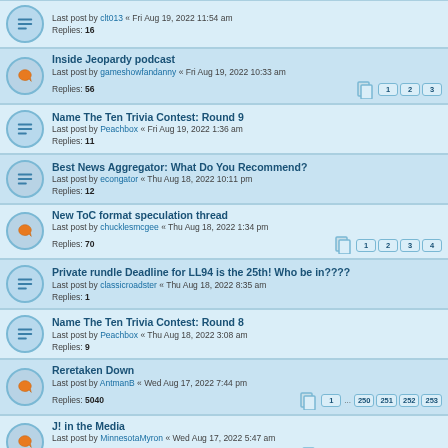Last post by clt013 « Fri Aug 19, 2022 11:54 am
Replies: 16
Inside Jeopardy podcast
Last post by gameshowfandanny « Fri Aug 19, 2022 10:33 am
Replies: 56
Pages: 1 2 3
Name The Ten Trivia Contest: Round 9
Last post by Peachbox « Fri Aug 19, 2022 1:36 am
Replies: 11
Best News Aggregator: What Do You Recommend?
Last post by econgator « Thu Aug 18, 2022 10:11 pm
Replies: 12
New ToC format speculation thread
Last post by chucklesmcgee « Thu Aug 18, 2022 1:34 pm
Replies: 70
Pages: 1 2 3 4
Private rundle Deadline for LL94 is the 25th! Who be in????
Last post by classicroadster « Thu Aug 18, 2022 8:35 am
Replies: 1
Name The Ten Trivia Contest: Round 8
Last post by Peachbox « Thu Aug 18, 2022 3:08 am
Replies: 9
Reretaken Down
Last post by AntmanB « Wed Aug 17, 2022 7:44 pm
Replies: 5040
Pages: 1 ... 250 251 252 253
J! in the Media
Last post by MinnesotaMyron « Wed Aug 17, 2022 5:47 am
Replies: 1631
Pages: 1 ... 79 80 81 82